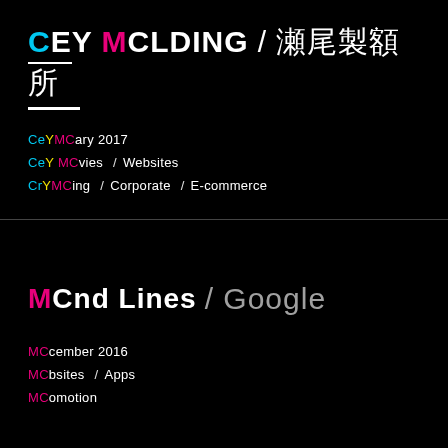CEY MCLDING / 瀬尾製額所
CeYMCary 2017
CeY MCvies / Websites
CrYMCing / Corporate / E-commerce
MCnd Lines / Google
MCcember 2016
MCbsites / Apps
MComotion